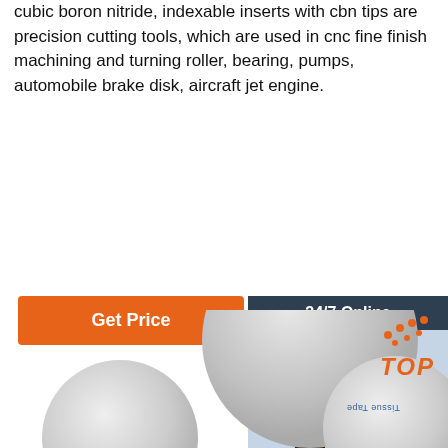cubic boron nitride, indexable inserts with cbn tips are precision cutting tools, which are used in cnc fine finish machining and turning roller, bearing, pumps, automobile brake disk, aircraft jet engine.
[Figure (other): Orange 'Get Price' button on the left and a customer service chat panel on the right showing '24/7 Online', a photo of a woman with a headset, 'Click here for free chat!' text, and an orange 'QUOTATION' button.]
[Figure (photo): Three light grey circular disc objects (CBN inserts or tape rolls) arranged diagonally, with a smaller circle showing 'Tissue Tape' text rotated 180 degrees, and an orange 'TOP' logo with orange dot accents.]